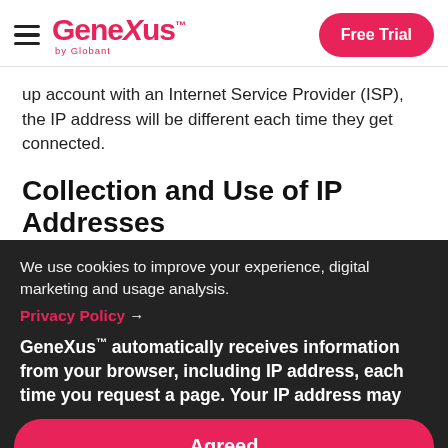[Figure (logo): GeneXus by Globant logo with hamburger menu icon on the left and Free Trial button on the right]
up account with an Internet Service Provider (ISP), the IP address will be different each time they get connected.
Collection and Use of IP Addresses
We use cookies to improve your experience, digital marketing and usage analysis.
Privacy Policy →
GeneXus™ automatically receives information from your browser, including IP address, each time you request a page. Your IP address may be used for different purposes, including:
Agreed
for different purposes, including: